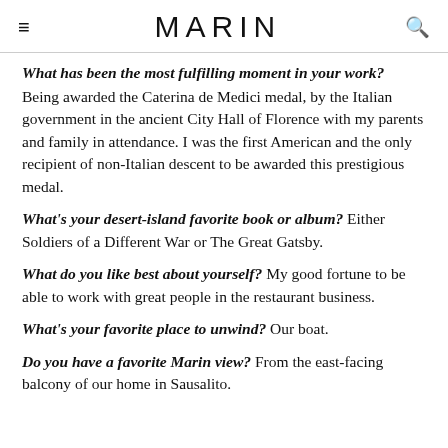MARIN
What has been the most fulfilling moment in your work? Being awarded the Caterina de Medici medal, by the Italian government in the ancient City Hall of Florence with my parents and family in attendance. I was the first American and the only recipient of non-Italian descent to be awarded this prestigious medal.
What's your desert-island favorite book or album? Either Soldiers of a Different War or The Great Gatsby.
What do you like best about yourself? My good fortune to be able to work with great people in the restaurant business.
What's your favorite place to unwind? Our boat.
Do you have a favorite Marin view? From the east-facing balcony of our home in Sausalito.